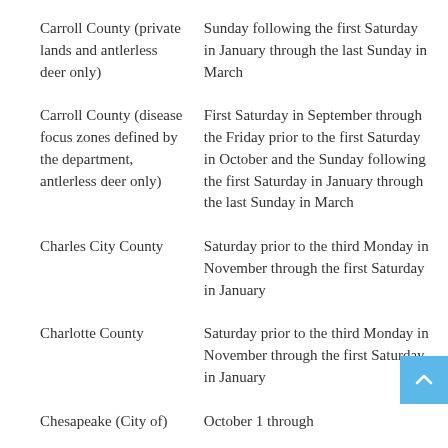| County/Jurisdiction | Season Dates |
| --- | --- |
| Carroll County (private lands and antlerless deer only) | Sunday following the first Saturday in January through the last Sunday in March |
| Carroll County (disease focus zones defined by the department, antlerless deer only) | First Saturday in September through the Friday prior to the first Saturday in October and the Sunday following the first Saturday in January through the last Sunday in March |
| Charles City County | Saturday prior to the third Monday in November through the first Saturday in January |
| Charlotte County | Saturday prior to the third Monday in November through the first Saturday in January |
| Chesapeake (City of) | October 1 through |